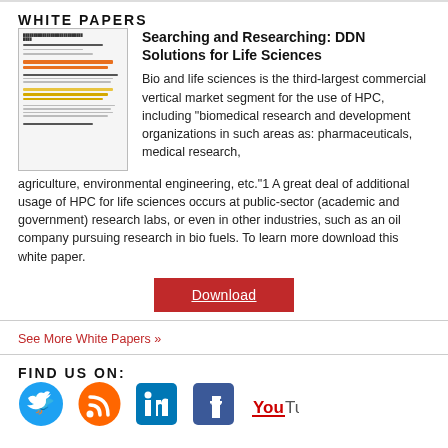WHITE PAPERS
[Figure (photo): Thumbnail image of white paper document about DDN Solutions for Life Sciences]
Searching and Researching: DDN Solutions for Life Sciences
Bio and life sciences is the third-largest commercial vertical market segment for the use of HPC, including “biomedical research and development organizations in such areas as: pharmaceuticals, medical research, agriculture, environmental engineering, etc.”1 A great deal of additional usage of HPC for life sciences occurs at public-sector (academic and government) research labs, or even in other industries, such as an oil company pursuing research in bio fuels. To learn more download this white paper.
Download
See More White Papers »
FIND US ON:
[Figure (logo): Social media icons: Twitter (blue bird), RSS (orange), LinkedIn (blue), Facebook (blue f), YouTube (red You)]